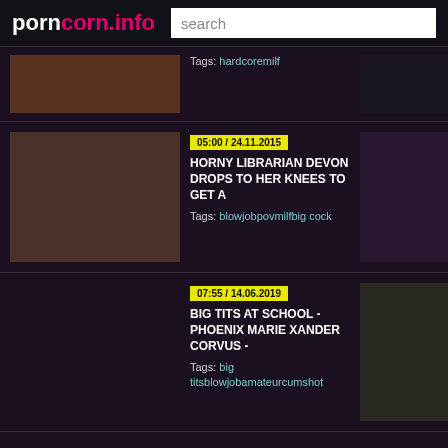porncorn.info — search
Tags: hardcoremilf
05:00 / 24.11.2015
HORNY LIBRARIAN DEVON DROPS TO HER KNEES TO GET A
Tags: blowjobpovmilfbig cock
07:55 / 14.06.2019
BIG TITS AT SCHOOL - PHOENIX MARIE XANDER CORVUS -
Tags: big titsblowjobamateurcumshot